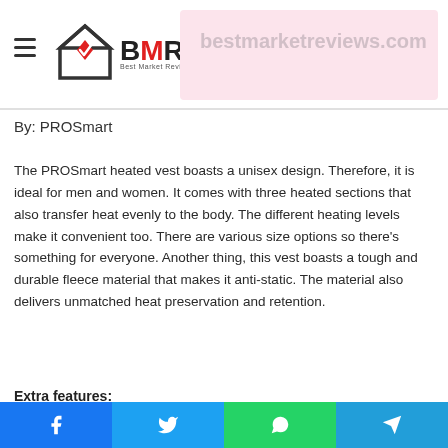BMR Best Market Reviews
By: PROSmart
The PROSmart heated vest boasts a unisex design. Therefore, it is ideal for men and women. It comes with three heated sections that also transfer heat evenly to the body. The different heating levels make it convenient too. There are various size options so there’s something for everyone. Another thing, this vest boasts a tough and durable fleece material that makes it anti-static. The material also delivers unmatched heat preservation and retention.
Extra features: